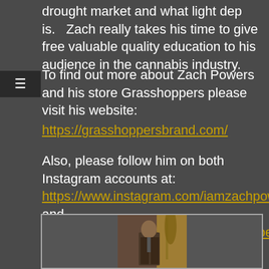drought market and what light dep is.   Zach really takes his time to give free valuable quality education to his audience in the cannabis industry.
To find out more about Zach Powers and his store Grasshoppers please visit his website:
https://grasshoppersbrand.com/
Also, please follow him on both  Instagram accounts at: https://www.instagram.com/iamzachpowers/  and https://www.instagram.com/grasshopperslosangeles/
[Figure (photo): Photo of a man in a suit standing in front of a brick wall with plants]